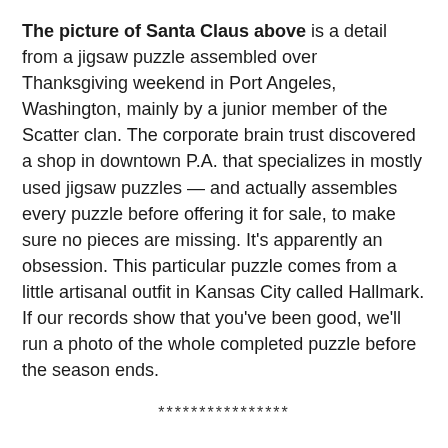The picture of Santa Claus above is a detail from a jigsaw puzzle assembled over Thanksgiving weekend in Port Angeles, Washington, mainly by a junior member of the Scatter clan. The corporate brain trust discovered a shop in downtown P.A. that specializes in mostly used jigsaw puzzles — and actually assembles every puzzle before offering it for sale, to make sure no pieces are missing. It's apparently an obsession. This particular puzzle comes from a little artisanal outfit in Kansas City called Hallmark. If our records show that you've been good, we'll run a photo of the whole completed puzzle before the season ends.
****************
Among other things, December is a month of beautiful music, and in Portland there is far more of it than a person can hope to take in. We regret, for instance, missing the medieval caroling of the women's ensemble In Mulieribus, Portland's answer to the Anonymous 4, and London's Tallis Scholars, who